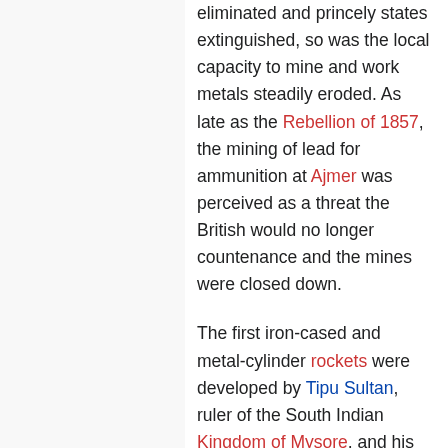eliminated and princely states extinguished, so was the local capacity to mine and work metals steadily eroded. As late as the Rebellion of 1857, the mining of lead for ammunition at Ajmer was perceived as a threat the British would no longer countenance and the mines were closed down.
The first iron-cased and metal-cylinder rockets were developed by Tipu Sultan, ruler of the South Indian Kingdom of Mysore, and his father Hyder Ali in the 1780s.[66] He successfully used these iron-cased rockets against the larger forces of the British East India Company during the Anglo-Mysore Wars.[66]